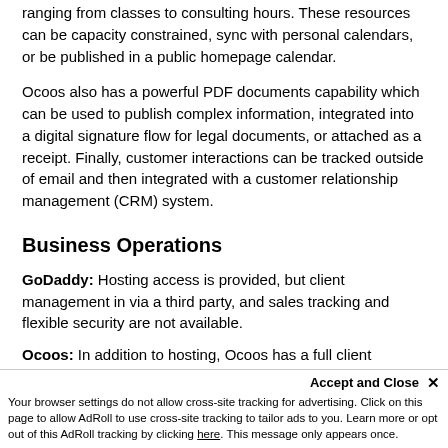ranging from classes to consulting hours. These resources can be capacity constrained, sync with personal calendars, or be published in a public homepage calendar.
Ocoos also has a powerful PDF documents capability which can be used to publish complex information, integrated into a digital signature flow for legal documents, or attached as a receipt. Finally, customer interactions can be tracked outside of email and then integrated with a customer relationship management (CRM) system.
Business Operations
GoDaddy: Hosting access is provided, but client management in via a third party, and sales tracking and flexible security are not available.
Ocoos: In addition to hosting, Ocoos has a full client database (CRM) which can be sorted and analyzed for remarketing efforts as well as connected to POS portal within Ocoos and Square.
Accept and Close ✕
Your browser settings do not allow cross-site tracking for advertising. Click on this page to allow AdRoll to use cross-site tracking to tailor ads to you. Learn more or opt out of this AdRoll tracking by clicking here. This message only appears once.